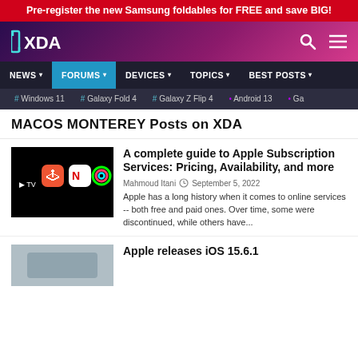Pre-register the new Samsung foldables for FREE and save BIG!
[Figure (logo): XDA Developers logo on purple-pink gradient header with search and menu icons]
NEWS  FORUMS  DEVICES  TOPICS  BEST POSTS
# Windows 11  # Galaxy Fold 4  # Galaxy Z Flip 4  • Android 13  • Gal
MACOS MONTEREY Posts on XDA
[Figure (screenshot): Apple subscription service app icons on black background: Apple TV, Arcade, News, and Fitness ring]
A complete guide to Apple Subscription Services: Pricing, Availability, and more
Mahmoud Itani  September 5, 2022
Apple has a long history when it comes to online services -- both free and paid ones. Over time, some were discontinued, while others have...
[Figure (screenshot): Partially visible thumbnail for second article about Apple releasing iOS 15.6.1]